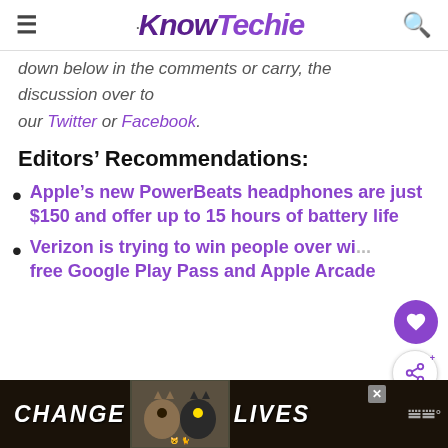KnowTechie
down below in the comments or carry the discussion over to our Twitter or Facebook.
Editors' Recommendations:
Apple's new PowerBeats headphones are just $150 and offer up to 15 hours of battery life
Verizon is trying to win people over with free Google Play Pass and Apple Arcade
[Figure (photo): Advertisement banner: CHANGE LIVES with cats imagery]